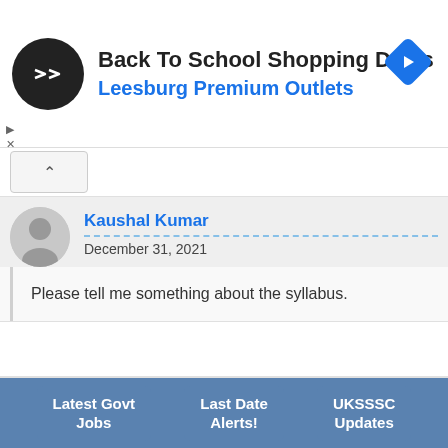[Figure (screenshot): Advertisement banner for Back To School Shopping Deals at Leesburg Premium Outlets, with a black circular logo with a double-arrow symbol and a blue diamond navigation icon on the right.]
Kaushal Kumar
December 31, 2021
Please tell me something about the syllabus.
Harish Singh Mehra
December 31, 2021
I have done MCA. Am i eligible for this application.
Latest Govt Jobs | Last Date Alerts! | UKSSSC Updates